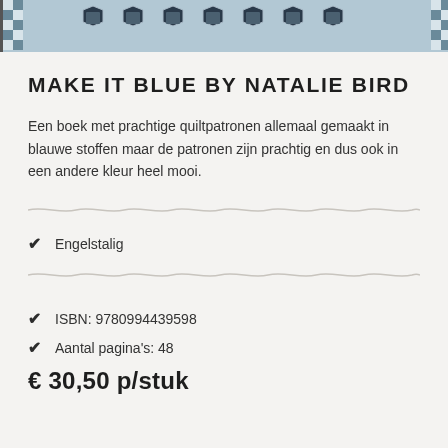[Figure (photo): Quilt pattern strip showing blue and white checkered and hexagonal quilt blocks]
MAKE IT BLUE BY NATALIE BIRD
Een boek met prachtige quiltpatronen allemaal gemaakt in blauwe stoffen maar de patronen zijn prachtig en dus ook in een andere kleur heel mooi.
Engelstalig
ISBN: 9780994439598
Aantal pagina's: 48
€ 30,50 p/stuk